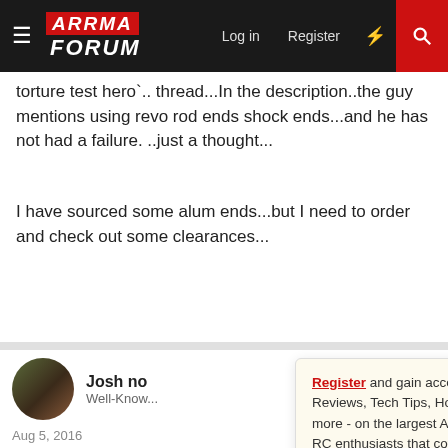ARRMA FORUM — Log in | Register
torture test hero`.. thread...In the description..the guy mentions using revo rod ends shock ends...and he has not had a failure. ..just a thought...
I have sourced some alum ends...but I need to order and check out some clearances...
Josh no — Well-Known [Member]
Aug 5, 2016
I tried revo rods a... tried did not work...
Register and gain access to Discussions, Reviews, Tech Tips, How to Articles, and much more - on the largest Arrma RC community for RC enthusiasts that covers all aspects of the Arrma-RC brand!

Register Today It's free! This box will disappear once registered!